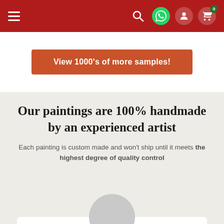Navigation bar with hamburger menu, search, WhatsApp, user, and cart icons
View 1000's of more samples!
Our paintings are 100% handmade by an experienced artist
Each painting is custom made and won't ship until it meets the highest degree of quality control
[Figure (illustration): Gray circular avatar placeholder above a white card]
Experienced Artists